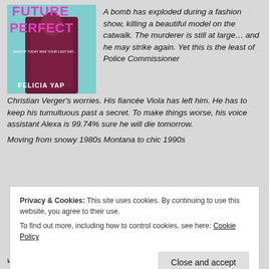[Figure (illustration): Book cover of 'Future Perfect' by Felicia Yap. Pink/magenta title text on teal/cyan background with a figure in dark clothing. Subtitle: 'What if today was your last day...']
A bomb has exploded during a fashion show, killing a beautiful model on the catwalk. The murderer is still at large... and he may strike again. Yet this is the least of Police Commissioner Christian Verger's worries. His fiancée Viola has left him. He has to keep his tumultuous past a secret. To make things worse, his voice assistant Alexa is 99.74% sure he will die tomorrow.
Moving from snowy 1980s Montana to chic 1990s
Privacy & Cookies: This site uses cookies. By continuing to use this website, you agree to their use.
To find out more, including how to control cookies, see here: Cookie Policy
will die... or kill.